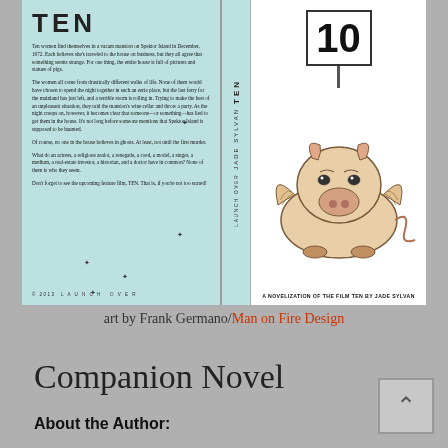[Figure (illustration): Book cover for 'TEN' by Jade Sylvan, published by Launch Over 2013. Left panel shows light blue/teal background with bold title 'TEN', back-cover blurb text about ten women finding themselves in a vacant mansion on Spektor Island in December 1972, and small fly decorations. Spine shows 'TEN JADE SYLVAN LAUNCH OVER' vertically. Right cover shows a winged pig illustration with a sign labeled '10', and bottom text reading 'A NOVELIZATION OF THE FILM TEN BY JADE SYLVAN'.]
art by Frank Germano/Man on Fire Design
Companion Novel
About the Author: